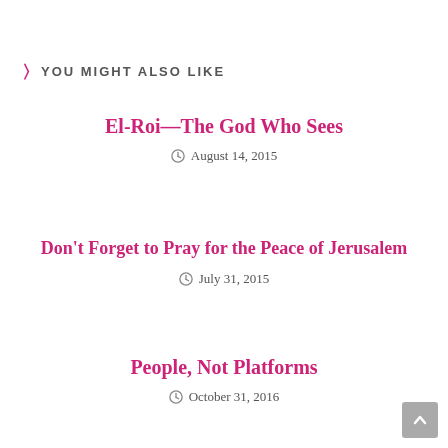YOU MIGHT ALSO LIKE
El-Roi—The God Who Sees
August 14, 2015
Don't Forget to Pray for the Peace of Jerusalem
July 31, 2015
People, Not Platforms
October 31, 2016